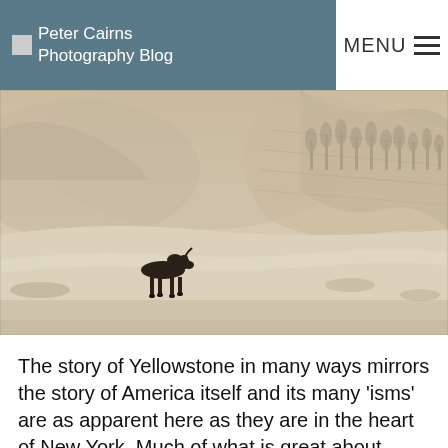Peter Cairns Photography Blog
[Figure (photo): A moose walking across a snow-covered frozen river or plain in a winter landscape with misty, snow-dusted trees and hillsides in the background. The scene is hazy and atmospheric, in muted beige and grey tones.]
The story of Yellowstone in many ways mirrors the story of America itself and its many ‘isms’ are as apparent here as they are in the heart of New York. Much of what is great about America manifests in the northern Rockies, as do